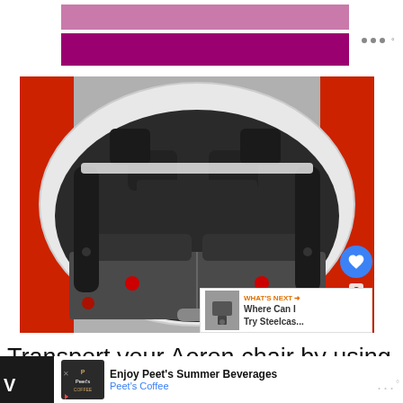[Figure (photo): Top decorative banner with light pink and magenta/dark pink horizontal bars, with wifi/signal icon to the right]
[Figure (photo): Photograph of a red hatchback car interior viewed from the open tailgate, showing folded rear seats and spacious cargo area. Car is red exterior with black interior. Like (heart) button, count of 2, and share button overlay the right side. A 'WHAT'S NEXT' panel shows 'Where Can I Try Steelcas...' with chair image.]
Transport your Aeron chair by using a private
[Figure (photo): Bottom advertisement bar: Peet's Coffee ad with logo, text 'Enjoy Peet's Summer Beverages / Peet's Coffee' and a blue directional arrow. Black side bars with partial text visible.]